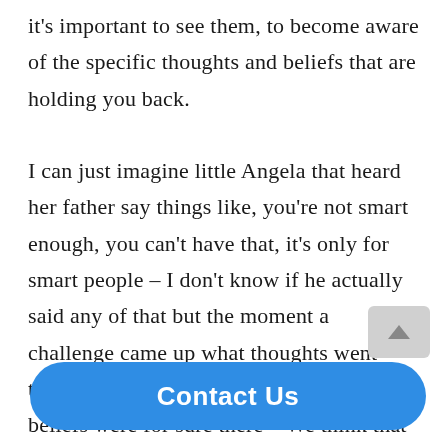it's important to see them, to become aware of the specific thoughts and beliefs that are holding you back.

I can just imagine little Angela that heard her father say things like, you're not smart enough, you can't have that, it's only for smart people – I don't know if he actually said any of that but the moment a challenge came up what thoughts went through her head? You know these limiting beliefs were for sure there – We think that to move forward those be... no...